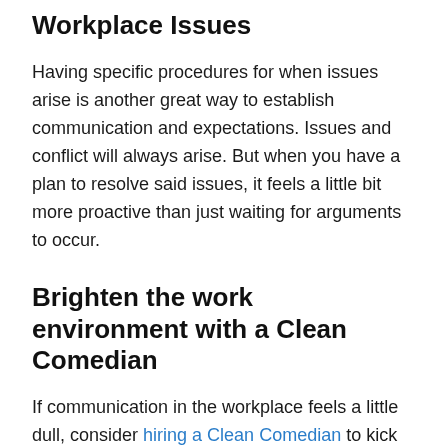Workplace Issues
Having specific procedures for when issues arise is another great way to establish communication and expectations. Issues and conflict will always arise. But when you have a plan to resolve said issues, it feels a little bit more proactive than just waiting for arguments to occur.
Brighten the work environment with a Clean Comedian
If communication in the workplace feels a little dull, consider hiring a Clean Comedian to kick start conversations! Nothing gets people talking like a comedic set.